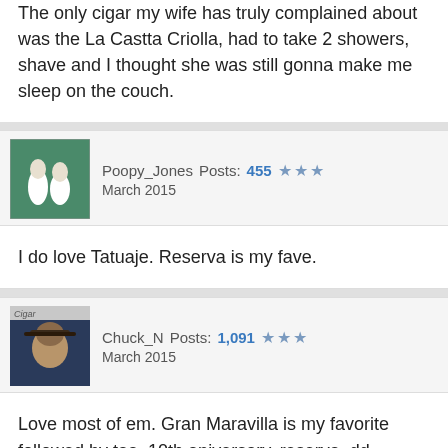The only cigar my wife has truly complained about was the La Castta Criolla, had to take 2 showers, shave and I thought she was still gonna make me sleep on the couch.
[Figure (photo): Avatar image of Poopy_Jones, showing animals on green background]
Poopy_Jones Posts: 455 ★★★ March 2015
I do love Tatuaje. Reserva is my fave.
[Figure (photo): Avatar image of Chuck_N, showing person with cowboy hat, Cigar magazine cover style]
Chuck_N Posts: 1,091 ★★★ March 2015
Love most of em. Gran Maravilla is my favorite followed by taa, 10th aniversary, reserva, dd, anarchy,apocolypse, pork tenderloin, and many more. Very few I haven't enjoyed. Sns member here.